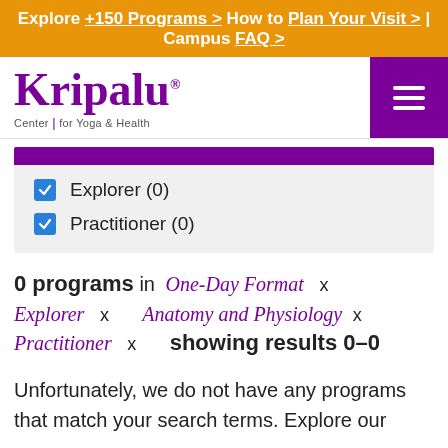Explore +150 Programs > How to Plan Your Visit > | Campus FAQ >
[Figure (logo): Kripalu Center for Yoga & Health logo in purple]
Explorer (0)
Practitioner (0)
0 programs  in  One-Day Format  x  Explorer  x  Anatomy and Physiology  x  Practitioner  x  showing results 0–0
Unfortunately, we do not have any programs that match your search terms. Explore our